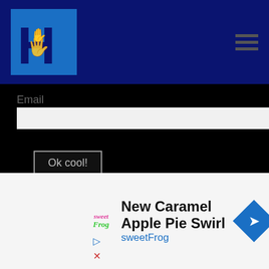[Figure (logo): HCM logo with blue H letter and hands icon on dark navy background, with hamburger menu icon on right]
Email
Ok cool!
ABOUT HCM
About
Contact
YouTube
Facebook
Advertise
[Figure (screenshot): Advertisement for sweetFrog: New Caramel Apple Pie Swirl with sweetFrog branding and blue diamond arrow icon]